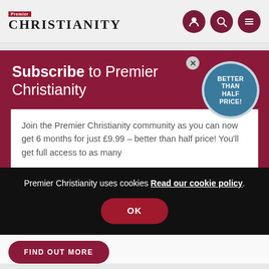Premier Christianity
[Figure (screenshot): Subscribe to Premier Christianity banner with dark red/maroon background, white text saying 'Subscribe to Premier Christianity', and a teal circular badge saying 'BETTER THAN HALF PRICE!']
Join the Premier Christianity community as you can now get 6 months for just £9.99 – better than half price! You'll get full access to as many
Premier Christianity uses cookies Read our cookie policy.
OK
FIND OUT MORE